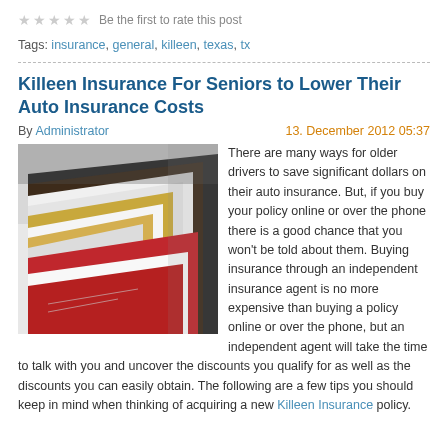★★★★★  Be the first to rate this post
Tags: insurance, general, killeen, texas, tx
Killeen Insurance For Seniors to Lower Their Auto Insurance Costs
By Administrator   13. December 2012 05:37
[Figure (photo): Photo of stacked file folders or envelopes in red, gold, black and white colors, fanned out on a surface]
There are many ways for older drivers to save significant dollars on their auto insurance. But, if you buy your policy online or over the phone there is a good chance that you won't be told about them. Buying insurance through an independent insurance agent is no more expensive than buying a policy online or over the phone, but an independent agent will take the time to talk with you and uncover the discounts you qualify for as well as the discounts you can easily obtain. The following are a few tips you should keep in mind when thinking of acquiring a new Killeen Insurance policy.